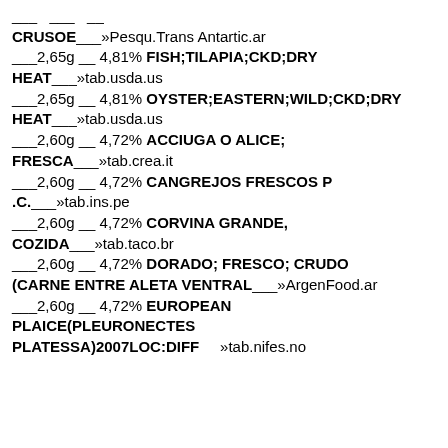___  ___  __
CRUSOE___»Pesqu.Trans Antartic.ar
___2,65g __ 4,81% FISH;TILAPIA;CKD;DRY HEAT___»tab.usda.us
___2,65g __ 4,81% OYSTER;EASTERN;WILD;CKD;DRY HEAT___»tab.usda.us
___2,60g __ 4,72% ACCIUGA O ALICE; FRESCA___»tab.crea.it
___2,60g __ 4,72% CANGREJOS FRESCOS P .C.___»tab.ins.pe
___2,60g __ 4,72% CORVINA GRANDE, COZIDA___»tab.taco.br
___2,60g __ 4,72% DORADO; FRESCO; CRUDO (CARNE ENTRE ALETA VENTRAL___»ArgenFood.ar
___2,60g __ 4,72% EUROPEAN PLAICE(PLEURONECTES PLATESSA)2007LOC:DIFF    »tab.nifes.no